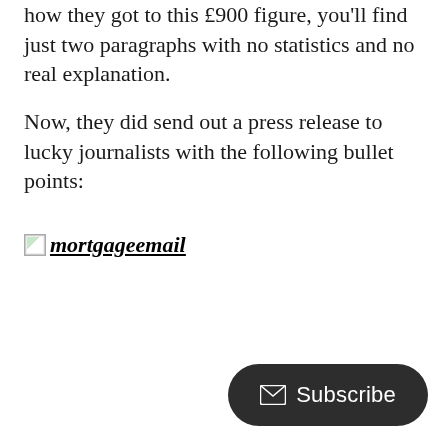how they got to this £900 figure, you'll find just two paragraphs with no statistics and no real explanation.
Now, they did send out a press release to lucky journalists with the following bullet points:
[Figure (other): Broken image placeholder with text link 'mortgageemail' shown as italic bold underlined text with a broken image icon]